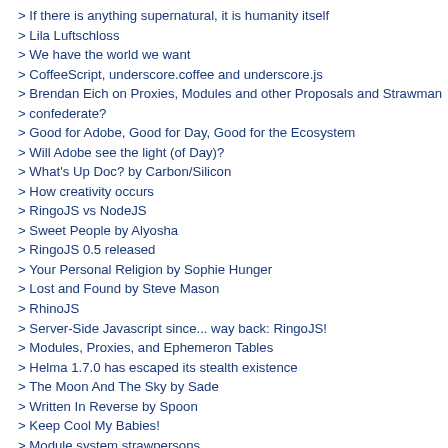> If there is anything supernatural, it is humanity itself
> Lila Luftschloss
> We have the world we want
> CoffeeScript, underscore.coffee and underscore.js
> Brendan Eich on Proxies, Modules and other Proposals and Strawman
> confederate?
> Good for Adobe, Good for Day, Good for the Ecosystem
> Will Adobe see the light (of Day)?
> What's Up Doc? by Carbon/Silicon
> How creativity occurs
> RingoJS vs NodeJS
> Sweet People by Alyosha
> RingoJS 0.5 released
> Your Personal Religion by Sophie Hunger
> Lost and Found by Steve Mason
> RhinoJS
> Server-Side Javascript since... way back: RingoJS!
> Modules, Proxies, and Ephemeron Tables
> Helma 1.7.0 has escaped its stealth existence
> The Moon And The Sky by Sade
> Written In Reverse by Spoon
> Keep Cool My Babies!
> Module system strawpersons
> You find what you google for.